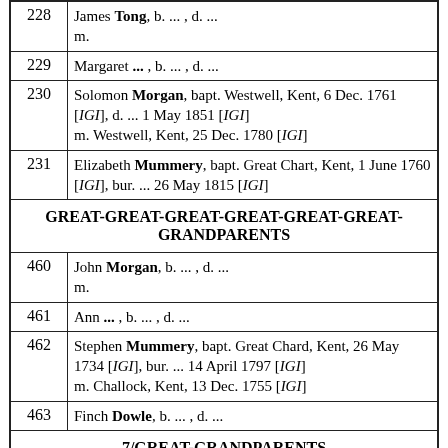| # | Details |
| --- | --- |
| 228 | James Tong, b. ... , d. ...
m. |
| 229 | Margaret ... , b. ... , d. ... |
| 230 | Solomon Morgan, bapt. Westwell, Kent, 6 Dec. 1761 [IGI], d. ... 1 May 1851 [IGI]
m. Westwell, Kent, 25 Dec. 1780 [IGI] |
| 231 | Elizabeth Mummery, bapt. Great Chart, Kent, 1 June 1760 [IGI], bur. ... 26 May 1815 [IGI] |
|  | GREAT-GREAT-GREAT-GREAT-GREAT-GREAT-GRANDPARENTS |
| 460 | John Morgan, b. ... , d. ...
m. |
| 461 | Ann ... , b. ... , d. ... |
| 462 | Stephen Mummery, bapt. Great Chard, Kent, 26 May 1734 [IGI], bur. ... 14 April 1797 [IGI]
m. Challock, Kent, 13 Dec. 1755 [IGI] |
| 463 | Finch Dowle, b. ... , d. ... |
|  | 7/GREAT-GRANDPARENTS |
|  | John Mummery, b. ... d. ... |